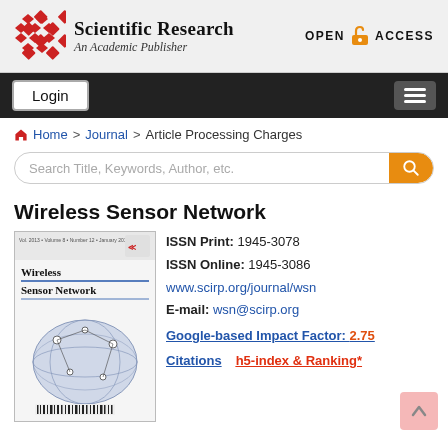Scientific Research — An Academic Publisher | OPEN ACCESS
Login
Home > Journal > Article Processing Charges
Search Title, Keywords, Author, etc.
Wireless Sensor Network
ISSN Print: 1945-3078
ISSN Online: 1945-3086
www.scirp.org/journal/wsn
E-mail: wsn@scirp.org
Google-based Impact Factor: 2.75
Citations   h5-index & Ranking*